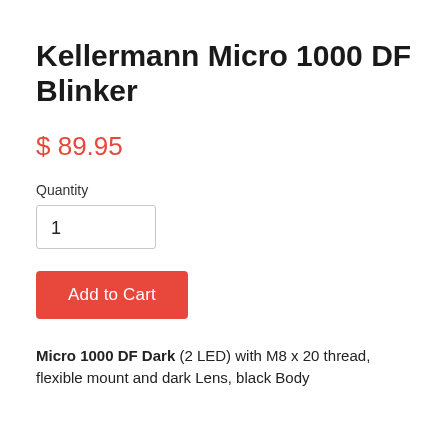Kellermann Micro 1000 DF Blinker
$ 89.95
Quantity
1
Add to Cart
Micro 1000 DF Dark (2 LED) with M8 x 20 thread, flexible mount and dark Lens, black Body